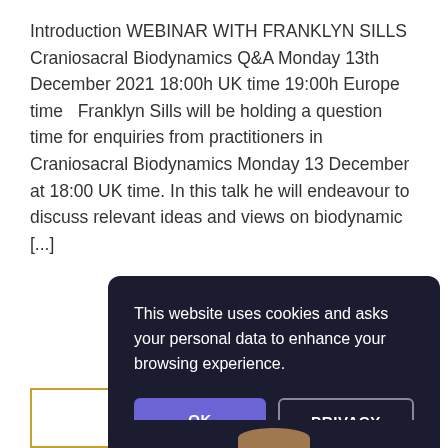Introduction WEBINAR WITH FRANKLYN SILLS Craniosacral Biodynamics Q&A Monday 13th December 2021 18:00h UK time 19:00h Europe time   Franklyn Sills will be holding a question time for enquiries from practitioners in Craniosacral Biodynamics Monday 13 December at 18:00 UK time. In this talk he will endeavour to discuss relevant ideas and views on biodynamic [...]
SEE MORE
This website uses cookies and asks your personal data to enhance your browsing experience.
OK
PRIVACY POLICY
55,